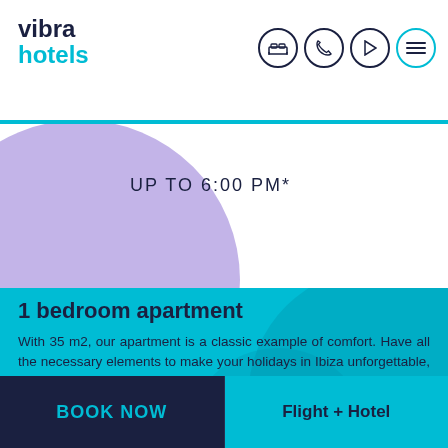vibra hotels
[Figure (illustration): Lavender/purple semicircle decorative shape in upper-left area]
UP TO  6:00 PM*
1 bedroom apartment
With 35 m2, our apartment is a classic example of comfort. Have all the necessary elements to make your holidays in Ibiza unforgettable, and enjoy the services of a hotel. All our apartments are fully equipped with the follo...
BOOK NOW
Flight + Hotel